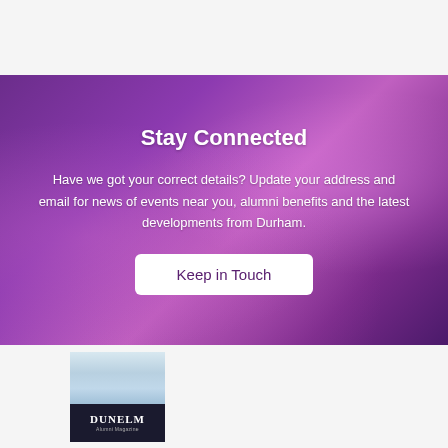[Figure (photo): Purple/violet banner background with confetti/sparkle effect and 'I LOVE DURHAM' text visible in background]
Stay Connected
Have we got your correct details? Update your address and email for news of events near you, alumni benefits and the latest developments from Durham.
Keep in Touch
[Figure (logo): Dunelm logo with blue-grey gradient top section and dark navy bottom section with 'DUNELM' text]